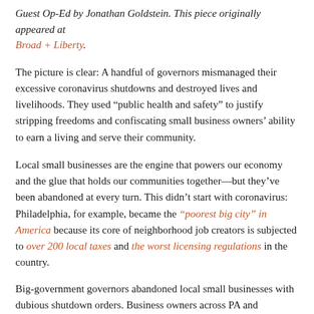Guest Op-Ed by Jonathan Goldstein. This piece originally appeared at Broad + Liberty.
The picture is clear: A handful of governors mismanaged their excessive coronavirus shutdowns and destroyed lives and livelihoods. They used “public health and safety” to justify stripping freedoms and confiscating small business owners’ ability to earn a living and serve their community.
Local small businesses are the engine that powers our economy and the glue that holds our communities together—but they’ve been abandoned at every turn. This didn’t start with coronavirus: Philadelphia, for example, became the “poorest big city” in America because its core of neighborhood job creators is subjected to over 200 local taxes and the worst licensing regulations in the country.
Big-government governors abandoned local small businesses with dubious shutdown orders. Business owners across PA and elsewhere personally sacrificed to continue paying their workers,